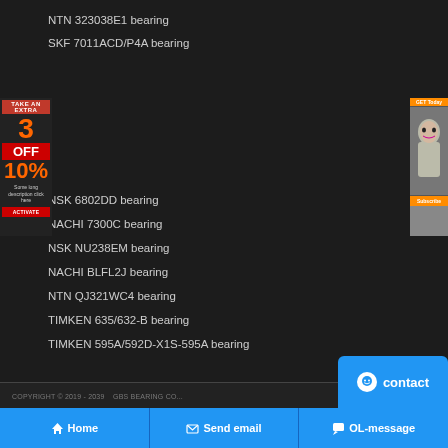NTN 323038E1 bearing
SKF 7011ACD/P4A bearing
[Figure (other): Left advertisement banner: red background with '3 OFF 10%' promotional text]
[Figure (other): Right advertisement banner: orange header with woman's face image]
NSK 6802DD bearing
NACHI 7300C bearing
NSK NU238EM bearing
NACHI BLFL2J bearing
NTN QJ321WC4 bearing
TIMKEN 635/632-B bearing
TIMKEN 595A/592D-X1S-595A bearing
COPYRIGHT © 2019 - 2039   GBS BEARING CO...
[Figure (other): Blue contact button with smiley face icon]
Home   Send email   OL-message